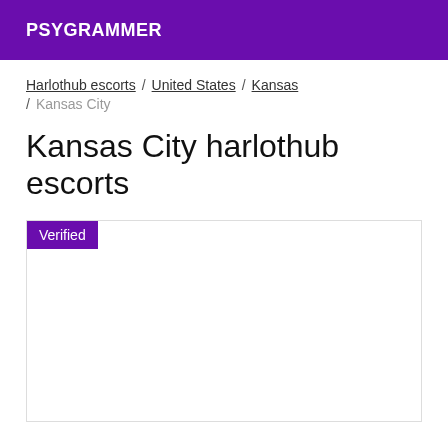PSYGRAMMER
Harlothub escorts / United States / Kansas / Kansas City
Kansas City harlothub escorts
Verified